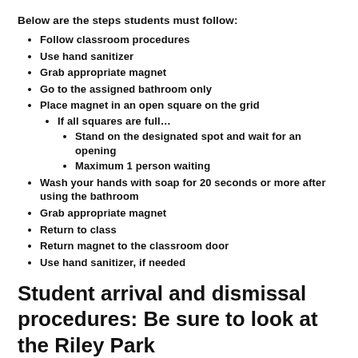Below are the steps students must follow:
Follow classroom procedures
Use hand sanitizer
Grab appropriate magnet
Go to the assigned bathroom only
Place magnet in an open square on the grid
If all squares are full…
Stand on the designated spot and wait for an opening
Maximum 1 person waiting
Wash your hands with soap for 20 seconds or more after using the bathroom
Grab appropriate magnet
Return to class
Return magnet to the classroom door
Use hand sanitizer, if needed
Student arrival and dismissal procedures: Be sure to look at the Riley Park